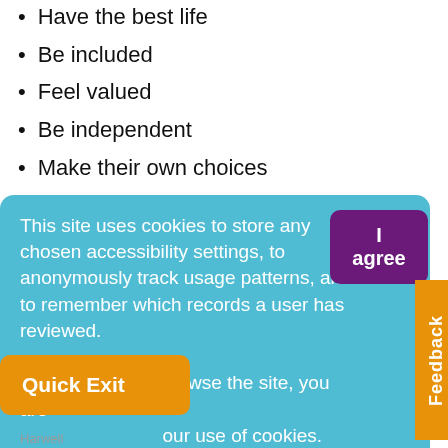Have the best life
Be included
Feel valued
Be independent
Make their own choices
This site uses cookies to store any chosen accessibility settings, to anonymously track usage patterns, and to remember which records a user has reviewed. By continuing to browse the site, you are [agreeing to] our use of cookies. Find out more about cookies
Harwell